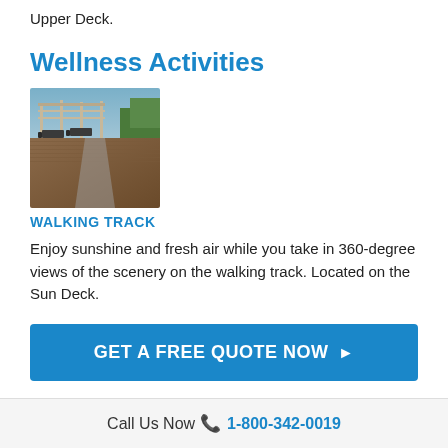Upper Deck.
Wellness Activities
[Figure (photo): Photo of a walking track on a ship deck with lounge chairs and pergola structures]
WALKING TRACK
Enjoy sunshine and fresh air while you take in 360-degree views of the scenery on the walking track. Located on the Sun Deck.
GET A FREE QUOTE NOW ▶
OR Call Us For a Free Quote 1-800-342-0019
Call Us Now 📞 1-800-342-0019